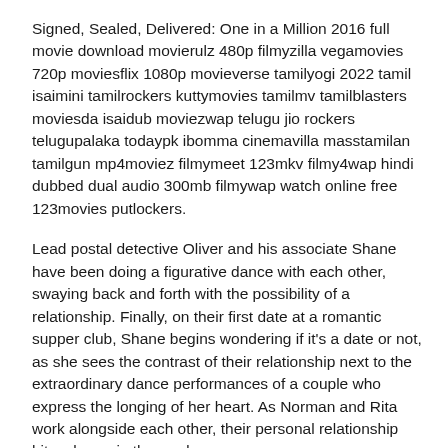Signed, Sealed, Delivered: One in a Million 2016 full movie download movierulz 480p filmyzilla vegamovies 720p moviesflix 1080p movieverse tamilyogi 2022 tamil isaimini tamilrockers kuttymovies tamilmv tamilblasters moviesda isaidub moviezwap telugu jio rockers telugupalaka todaypk ibomma cinemavilla masstamilan tamilgun mp4moviez filmymeet 123mkv filmy4wap hindi dubbed dual audio 300mb filmywap watch online free 123movies putlockers.
Lead postal detective Oliver and his associate Shane have been doing a figurative dance with each other, swaying back and forth with the possibility of a relationship. Finally, on their first date at a romantic supper club, Shane begins wondering if it's a date or not, as she sees the contrast of their relationship next to the extraordinary dance performances of a couple who express the longing of her heart. As Norman and Rita work alongside each other, their personal relationship hits a bump in the road.